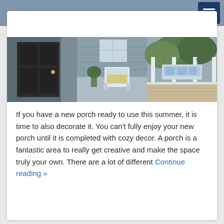[Figure (photo): Composite photo of a home porch: dark front door on the left, wicker chair on a blue-gray deck in the center, and a porch swing on a wraparound porch on the right with trees in the background.]
If you have a new porch ready to use this summer, it is time to also decorate it. You can't fully enjoy your new porch until it is completed with cozy decor. A porch is a fantastic area to really get creative and make the space truly your own. There are a lot of different Continue reading »